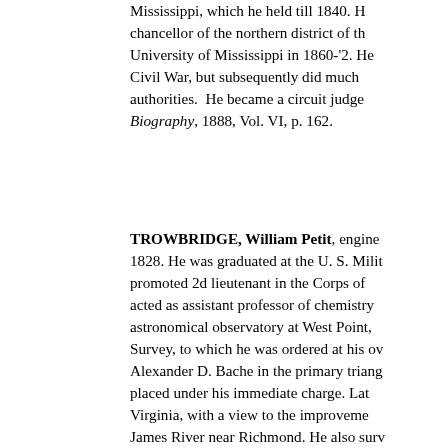Mississippi, which he held till 1840. He became chancellor of the northern district of the University of Mississippi in 1860-'2. He sided with the Civil War, but subsequently did much to reconcile the authorities. He became a circuit judge. See Cyclopaedia of Biography, 1888, Vol. VI, p. 162.
TROWBRIDGE, William Petit, engineer, born in 1828. He was graduated at the U. S. Military Academy, promoted 2d lieutenant in the Corps of Engineers, acted as assistant professor of chemistry, built the astronomical observatory at West Point, joined the Coast Survey, to which he was ordered at his own request under Alexander D. Bache in the primary triangulation that was placed under his immediate charge. Later he went to Virginia, with a view to the improvement of the James River near Richmond. He also surveyed the 'cut off' or canal, that was subsequently constructed, and where he conducted a series of tidal and river observations.